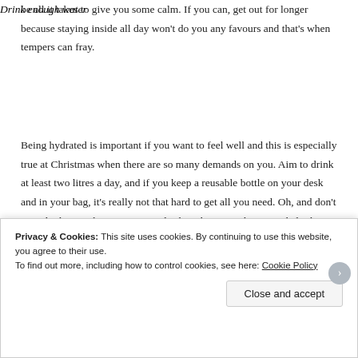be all it takes to give you some calm. If you can, get out for longer because staying inside all day won't do you any favours and that's when tempers can fray.
Drink enough water
Being hydrated is important if you want to feel well and this is especially true at Christmas when there are so many demands on you. Aim to drink at least two litres a day, and if you keep a reusable bottle on your desk and in your bag, it's really not that hard to get all you need. Oh, and don't over do things when it comes to drinking booze as that won't help things!
Privacy & Cookies: This site uses cookies. By continuing to use this website, you agree to their use.
To find out more, including how to control cookies, see here: Cookie Policy
Close and accept